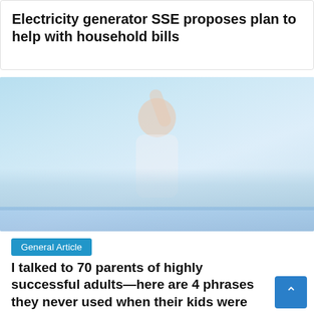Electricity generator SSE proposes plan to help with household bills
[Figure (photo): A young child wearing round sunglasses, raising one hand, smiling, with a city skyline and water in the background on a bright day.]
General Article
I talked to 70 parents of highly successful adults—here are 4 phrases they never used when their kids were